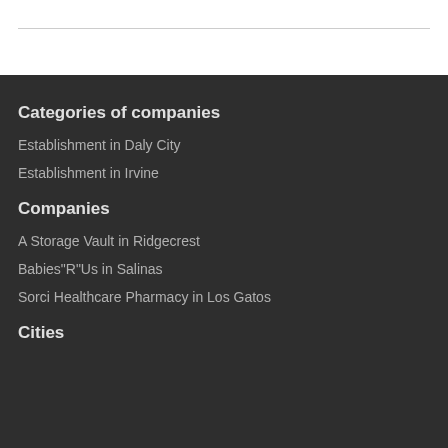Categories of companies
Establishment in Daly City
Establishment in Irvine
Companies
A Storage Vault in Ridgecrest
Babies"R"Us in Salinas
Sorci Healthcare Pharmacy in Los Gatos
Cities